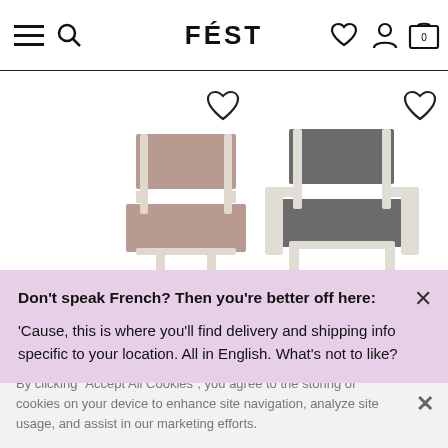FÉST navigation bar with hamburger menu, search, wishlist, account, and cart icons
[Figure (photo): Two chairs displayed side by side: left chair is a simple chair with dusty pink/mauve upholstery and light cream metal frame; right chair is an armchair with dark grey/charcoal upholstery and white metal frame. Heart/wishlist icons appear above each chair.]
Don't speak French? Then you're better off here:
'Cause, this is where you'll find delivery and shipping info specific to your location. All in English. What's not to like?
By clicking "Accept All Cookies", you agree to the storing of cookies on your device to enhance site navigation, analyze site usage, and assist in our marketing efforts.